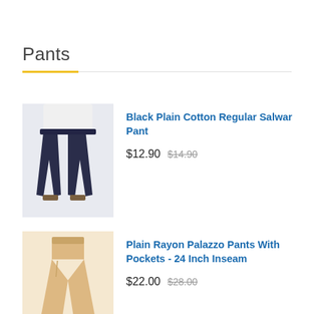Pants
[Figure (photo): Photo of black plain cotton regular salwar pant worn by a model]
Black Plain Cotton Regular Salwar Pant
$12.90  $14.90
[Figure (photo): Photo of plain rayon palazzo pants in beige/tan color worn by a model]
Plain Rayon Palazzo Pants With Pockets - 24 Inch Inseam
$22.00  $28.00